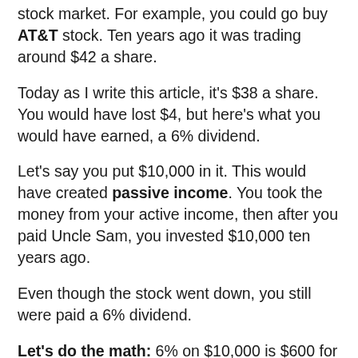stock market. For example, you could go buy AT&T stock. Ten years ago it was trading around $42 a share.
Today as I write this article, it's $38 a share. You would have lost $4, but here's what you would have earned, a 6% dividend.
Let's say you put $10,000 in it. This would have created passive income. You took the money from your active income, then after you paid Uncle Sam, you invested $10,000 ten years ago.
Even though the stock went down, you still were paid a 6% dividend.
Let's do the math: 6% on $10,000 is $600 for 10 years.